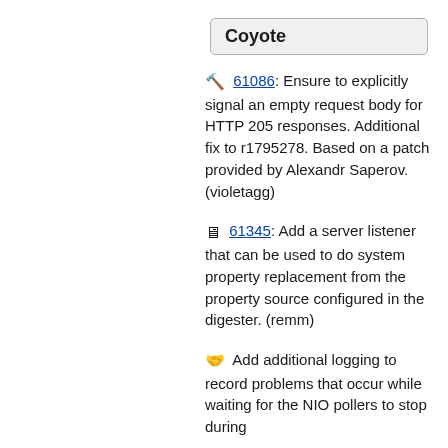Coyote
🔨 61086: Ensure to explicitly signal an empty request body for HTTP 205 responses. Additional fix to r1795278. Based on a patch provided by Alexandr Saperov. (violetagg)
🖼 61345: Add a server listener that can be used to do system property replacement from the property source configured in the digester. (remm)
🤝 Add additional logging to record problems that occur while waiting for the NIO pollers to stop during